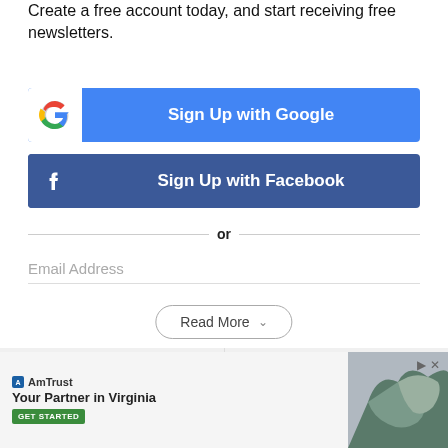Create a free account today, and start receiving free newsletters.
[Figure (other): Sign Up with Google button with Google G logo]
[Figure (other): Sign Up with Facebook button with Facebook f logo]
or
Email Address
[Figure (other): Read More dropdown button]
[Figure (other): Previous story / Next story navigation buttons]
[Figure (other): AmTrust advertisement banner with Virginia map and Get Started button]